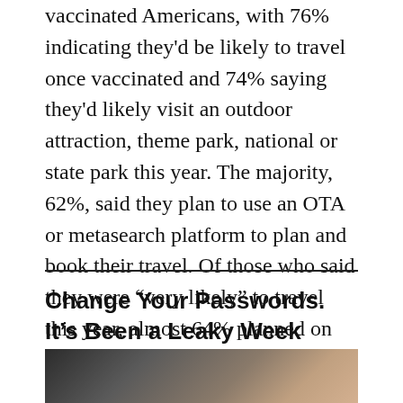vaccinated Americans, with 76% indicating they'd be likely to travel once vaccinated and 74% saying they'd likely visit an outdoor attraction, theme park, national or state park this year. The majority, 62%, said they plan to use an OTA or metasearch platform to plan and book their travel. Of those who said they were “very likely” to travel this year, almost 64% planned on flying, and 88% planned on driving.
Change Your Passwords. It’s Been a Leaky Week
[Figure (photo): A dark close-up photo, appears to show a padlock or security-related object with blurred background]